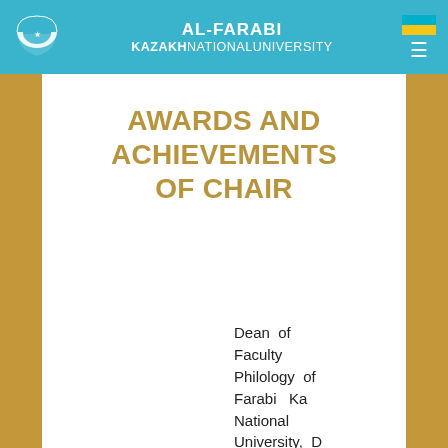AL-FARABI KAZAKH NATIONAL UNIVERSITY
AWARDS AND ACHIEVEMENTS OF CHAIR
Dean of Faculty Philology of Farabi Ka National University, D of Philo Professor, Corresponding Member of